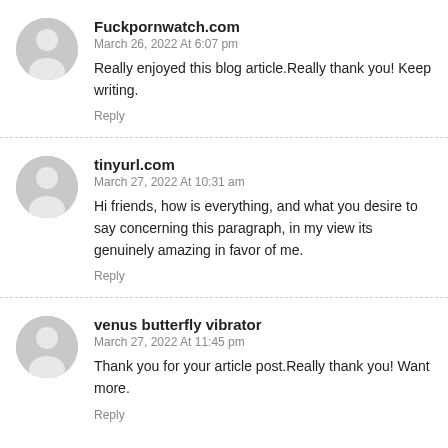Fuckpornwatch.com
March 26, 2022 At 6:07 pm
Really enjoyed this blog article.Really thank you! Keep writing.
Reply
tinyurl.com
March 27, 2022 At 10:31 am
Hi friends, how is everything, and what you desire to say concerning this paragraph, in my view its genuinely amazing in favor of me.
Reply
venus butterfly vibrator
March 27, 2022 At 11:45 pm
Thank you for your article post.Really thank you! Want more.
Reply